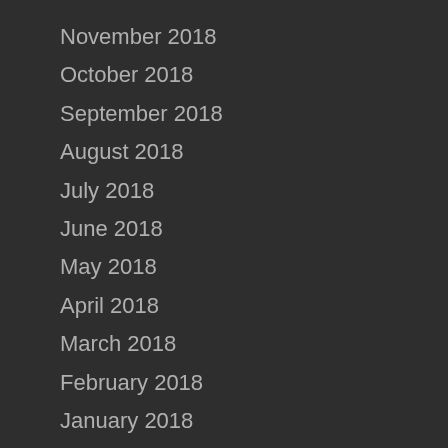November 2018
October 2018
September 2018
August 2018
July 2018
June 2018
May 2018
April 2018
March 2018
February 2018
January 2018
December 2017
November 2017
October 2017
September 2017
August 2017
July 2017
June 2017